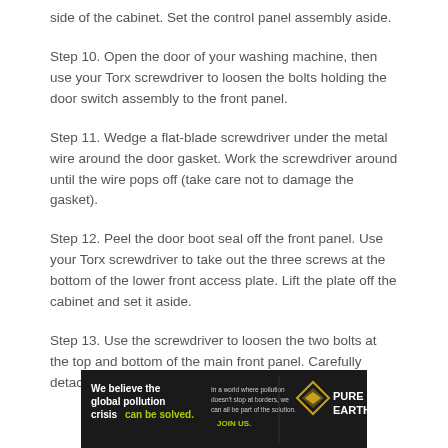side of the cabinet. Set the control panel assembly aside.
Step 10. Open the door of your washing machine, then use your Torx screwdriver to loosen the bolts holding the door switch assembly to the front panel.
Step 11. Wedge a flat-blade screwdriver under the metal wire around the door gasket. Work the screwdriver around until the wire pops off (take care not to damage the gasket).
Step 12. Peel the door boot seal off the front panel. Use your Torx screwdriver to take out the three screws at the bottom of the lower front access plate. Lift the plate off the cabinet and set it aside.
Step 13. Use the screwdriver to loosen the two bolts at the top and bottom of the main front panel. Carefully detach the front panel
[Figure (infographic): Pure Earth advertisement banner: 'We believe the global pollution crisis can be solved.' with logo on dark background]